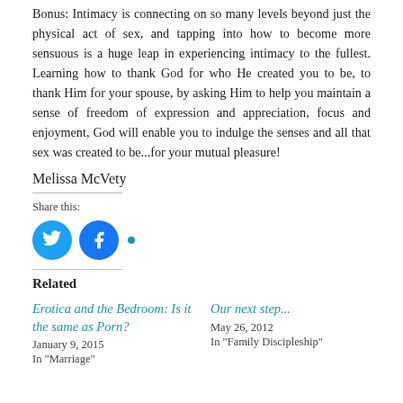Bonus: Intimacy is connecting on so many levels beyond just the physical act of sex, and tapping into how to become more sensuous is a huge leap in experiencing intimacy to the fullest. Learning how to thank God for who He created you to be, to thank Him for your spouse, by asking Him to help you maintain a sense of freedom of expression and appreciation, focus and enjoyment, God will enable you to indulge the senses and all that sex was created to be...for your mutual pleasure!
Melissa McVety
Share this:
[Figure (other): Twitter and Facebook share icons (circular blue buttons) followed by a small teal dot]
Related
Erotica and the Bedroom: Is it the same as Porn?
January 9, 2015
In "Marriage"
Our next step...
May 26, 2012
In "Family Discipleship"